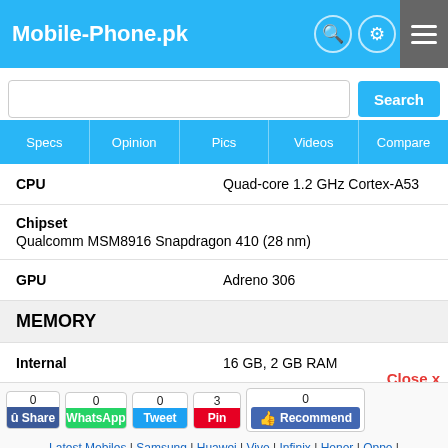Mobile-Phone.pk
Search
Specs | Opinion | Pics | Videos | Compare
| Field | Value |
| --- | --- |
| CPU | Quad-core 1.2 GHz Cortex-A53 |
| Chipset | Qualcomm MSM8916 Snapdragon 410 (28 nm) |
| GPU | Adreno 306 |
| MEMORY |  |
| Internal | 16 GB, 2 GB RAM |
| Card slot | microSD, up to 64 GB (dedicated slot) Mobile with Memory Card |
Close x
0  Share  0  WhatsApp  0  Tweet  3  Pin  0  Recommend
Latest Mobiles | Samsung | Huawei | Vivo | Infinix | Honor | Oppo | Realme | Tecno